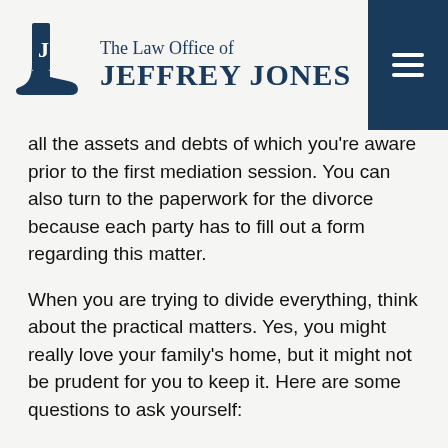The Law Office of JEFFREY JONES
all the assets and debts of which you’re aware prior to the first mediation session. You can also turn to the paperwork for the divorce because each party has to fill out a form regarding this matter.
When you are trying to divide everything, think about the practical matters. Yes, you might really love your family’s home, but it might not be prudent for you to keep it. Here are some questions to ask yourself:
Can I afford to make the payments?
Can I pay for its upkeep?